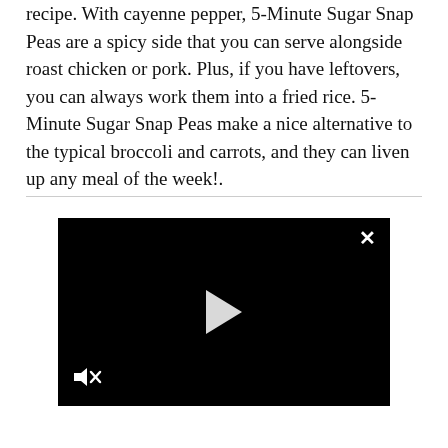recipe. With cayenne pepper, 5-Minute Sugar Snap Peas are a spicy side that you can serve alongside roast chicken or pork. Plus, if you have leftovers, you can always work them into a fried rice. 5-Minute Sugar Snap Peas make a nice alternative to the typical broccoli and carrots, and they can liven up any meal of the week!.
[Figure (other): Embedded video player with black background, white close (X) button in top right, white play triangle button in center, and muted speaker icon in bottom left.]